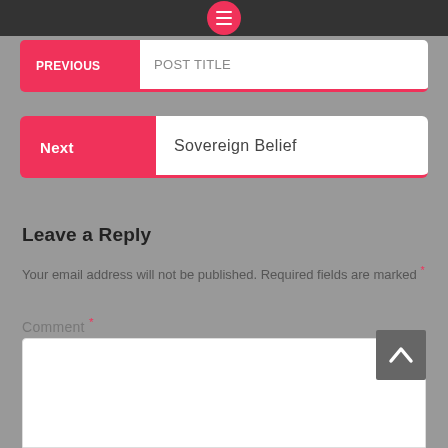[Figure (screenshot): Top navigation bar with dark background and pink circular menu button with three horizontal lines]
Previous [cropped navigation link]
Next  Sovereign Belief
Leave a Reply
Your email address will not be published. Required fields are marked *
Comment *